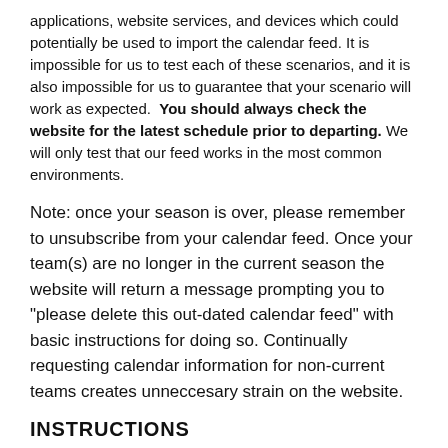applications, website services, and devices which could potentially be used to import the calendar feed. It is impossible for us to test each of these scenarios, and it is also impossible for us to guarantee that your scenario will work as expected. You should always check the website for the latest schedule prior to departing. We will only test that our feed works in the most common environments.
Note: once your season is over, please remember to unsubscribe from your calendar feed. Once your team(s) are no longer in the current season the website will return a message prompting you to "please delete this out-dated calendar feed" with basic instructions for doing so. Continually requesting calendar information for non-current teams creates unneccesary strain on the website.
INSTRUCTIONS
We will provide some basic instructions for using the calendar feed from this website for some of the most